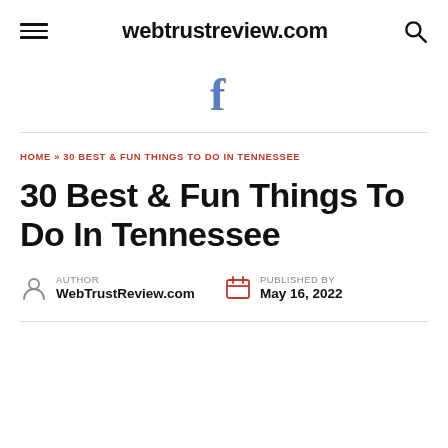webtrustreview.com
[Figure (logo): Facebook 'f' icon in blue]
HOME » 30 BEST & FUN THINGS TO DO IN TENNESSEE
30 Best & Fun Things To Do In Tennessee
AUTHOR WebTrustReview.com PUBLISHED BY May 16, 2022